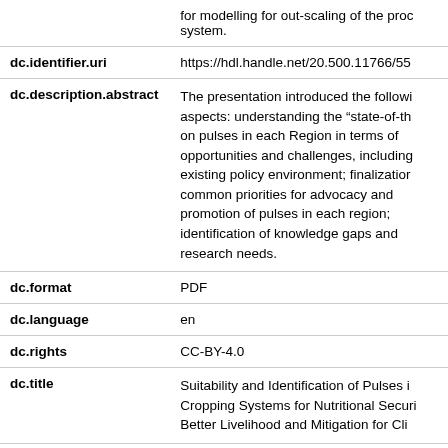| Field | Value |
| --- | --- |
|  | for modelling for out-scaling of the process system. |
| dc.identifier.uri | https://hdl.handle.net/20.500.11766/55 |
| dc.description.abstract | The presentation introduced the following aspects: understanding the “state-of-th on pulses in each Region in terms of opportunities and challenges, including existing policy environment; finalization common priorities for advocacy and promotion of pulses in each region; identification of knowledge gaps and research needs. |
| dc.format | PDF |
| dc.language | en |
| dc.rights | CC-BY-4.0 |
| dc.title | Suitability and Identification of Pulses in Cropping Systems for Nutritional Securi Better Livelihood and Mitigation for Cli |